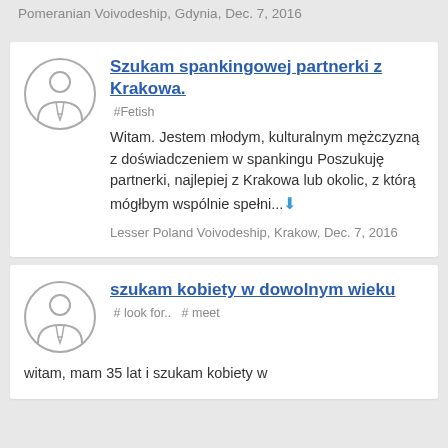Pomeranian Voivodeship, Gdynia, Dec. 7, 2016
Szukam spankingowej partnerki z Krakowa.
#Fetish
Witam. Jestem młodym, kulturalnym mężczyzną z doświadczeniem w spankingu Poszukuję partnerki, najlepiej z Krakowa lub okolic, z którą mógłbym wspólnie spełni...
Lesser Poland Voivodeship, Krakow, Dec. 7, 2016
szukam kobiety w dowolnym wieku
#look for..   #meet
witam, mam 35 lat i szukam kobiety w